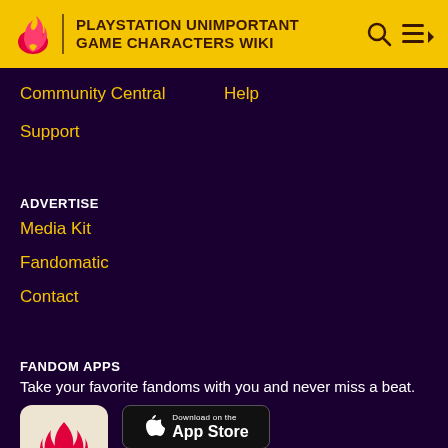PLAYSTATION UNIMPORTANT GAME CHARACTERS WIKI
Community Central
Help
Support
ADVERTISE
Media Kit
Fandomatic
Contact
FANDOM APPS
Take your favorite fandoms with you and never miss a beat.
[Figure (logo): Fandom app icon with flame and heart logo on beige background]
[Figure (screenshot): Download on the App Store button (black)]
[Figure (screenshot): GET IT ON Google Play button (black)]